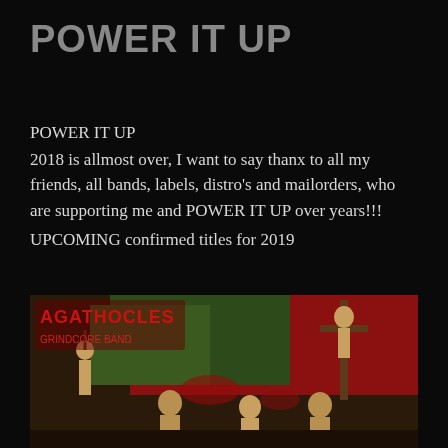POWER IT UP
POWER IT UP
2018 is allmost over, I want to say thanx to all my friends, all bands, labels, distro’s and mailorders, who are supporting me and POWER IT UP over years!!!
UPCOMING confirmed titles for 2019
[Figure (photo): Album cover artwork for a metal/grindcore band (Agathocles or similar) showing illustrated figures in a violent/gory scene with red and green tones, band name text in red at top left]